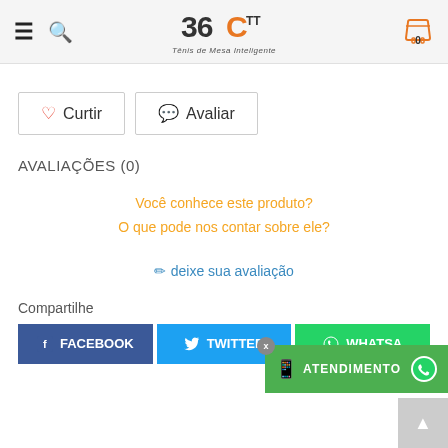360TT Tênis de Mesa Inteligente — navigation header with hamburger, search, logo, and cart (0)
Curtir   Avaliar
AVALIAÇÕES (0)
Você conhece este produto?
O que pode nos contar sobre ele?
✏ deixe sua avaliação
Compartilhe
FACEBOOK   TWITTER   WHATSAPP
[Figure (screenshot): ATENDIMENTO green button overlay with close X and WhatsApp icon]